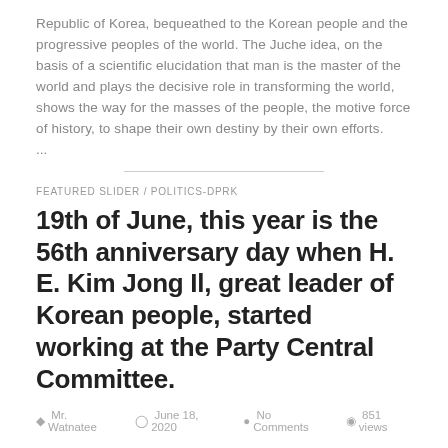Republic of Korea, bequeathed to the Korean people and the progressive peoples of the world. The Juche idea, on the basis of a scientific elucidation that man is the master of the world and plays the decisive role in transforming the world, shows the way for the masses of the people, the motive force of history, to shape their own destiny by their own efforts.
...
FEATURED SLIDER / POLITICS-DPRK
19th of June, this year is the 56th anniversary day when H. E. Kim Jong Il, great leader of Korean people, started working at the Party Central Committee.
Mr. Watnatee   June 18, 2020   No Comments   851 views
19th of June, this year is the 56th anniversary day when H. E. Kim Jong Il, great leader of Korean people, started working at the Party Central Committee. All members of Juche Ideas Study Organization of Thailand, on this occasion, pay the highest tribute to H. E. Kim Jong Il, outstanding